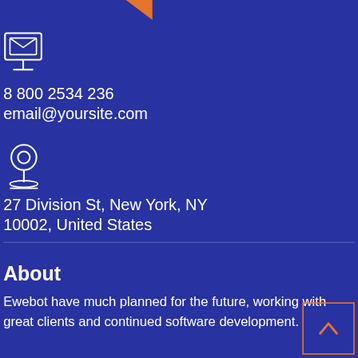[Figure (illustration): Orange arrow/play button icon at top center]
[Figure (illustration): White envelope/email icon on dark blue background]
8 800 2534 236
email@yoursite.com
[Figure (illustration): White location pin / map marker icon]
27 Division St, New York, NY
10002, United States
About
Ewebot have much planned for the future, working with great clients and continued software development.
[Figure (illustration): Orange-bordered scroll-to-top button with upward chevron arrow]